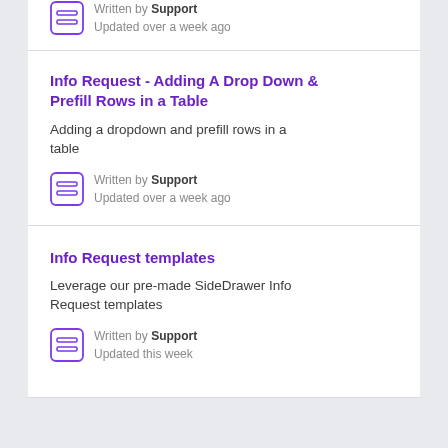Written by Support
Updated over a week ago
Info Request - Adding A Drop Down & Prefill Rows in a Table
Adding a dropdown and prefill rows in a table
Written by Support
Updated over a week ago
Info Request templates
Leverage our pre-made SideDrawer Info Request templates
Written by Support
Updated this week